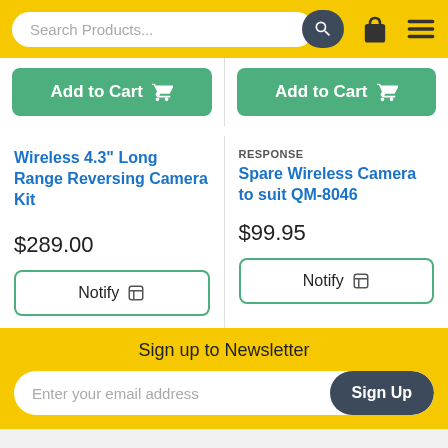[Figure (screenshot): E-commerce website header with search bar, shopping cart icon, and hamburger menu on yellow background]
Add to Cart (left product)
Add to Cart (right product)
Wireless 4.3" Long Range Reversing Camera Kit
RESPONSE
Spare Wireless Camera to suit QM-8046
$289.00
$99.95
Notify (left)
Notify (right)
Sign up to Newsletter
Enter your email address
Sign Up
[Figure (logo): Albury RC Models & Hobbies logo at bottom of page]